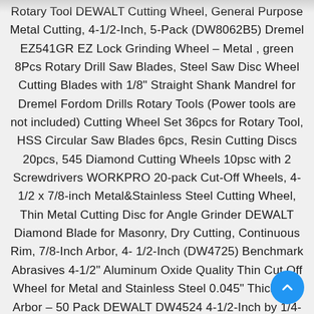Rotary Tool DEWALT Cutting Wheel, General Purpose Metal Cutting, 4-1/2-Inch, 5-Pack (DW8062B5) Dremel EZ541GR EZ Lock Grinding Wheel – Metal , green 8Pcs Rotary Drill Saw Blades, Steel Saw Disc Wheel Cutting Blades with 1/8" Straight Shank Mandrel for Dremel Fordom Drills Rotary Tools (Power tools are not included) Cutting Wheel Set 36pcs for Rotary Tool, HSS Circular Saw Blades 6pcs, Resin Cutting Discs 20pcs, 545 Diamond Cutting Wheels 10psc with 2 Screwdrivers WORKPRO 20-pack Cut-Off Wheels, 4-1/2 x 7/8-inch Metal&Stainless Steel Cutting Wheel, Thin Metal Cutting Disc for Angle Grinder DEWALT Diamond Blade for Masonry, Dry Cutting, Continuous Rim, 7/8-Inch Arbor, 4-1/2-Inch (DW4725) Benchmark Abrasives 4-1/2" Aluminum Oxide Quality Thin Cut Off Wheel for Metal and Stainless Steel 0.045" Thick 7/8" Arbor – 50 Pack DEWALT DW4524 4-1/2-Inch by 1/4-Inch by 7/8-Inch Concrete/Masonry Grinding Wheel PEGATEC Cut Off